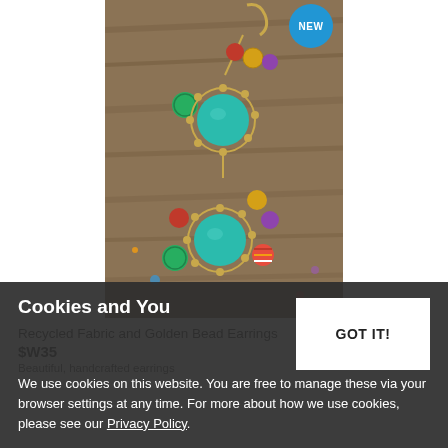[Figure (photo): Colorful recycled fabric and golden bead earrings on a wooden background. Two dangling earrings each feature a large turquoise bead center surrounded by golden beads, with multicolor fabric beads including green, red, yellow, and purple arranged around them. A 'NEW' badge in blue is shown in the top right corner of the image.]
Recycled Fabric and Golden Bead Earrings
$W35
Beautiful, handcrafted earrings
Cookies and You
We use cookies on this website. You are free to manage these via your browser settings at any time. For more about how we use cookies, please see our Privacy Policy.
GOT IT!